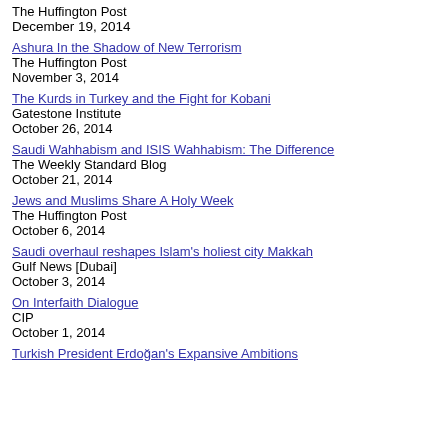The Huffington Post
December 19, 2014
Ashura In the Shadow of New Terrorism
The Huffington Post
November 3, 2014
The Kurds in Turkey and the Fight for Kobani
Gatestone Institute
October 26, 2014
Saudi Wahhabism and ISIS Wahhabism: The Difference
The Weekly Standard Blog
October 21, 2014
Jews and Muslims Share A Holy Week
The Huffington Post
October 6, 2014
Saudi overhaul reshapes Islam's holiest city Makkah
Gulf News [Dubai]
October 3, 2014
On Interfaith Dialogue
CIP
October 1, 2014
Turkish President Erdoğan's Expansive Ambitions